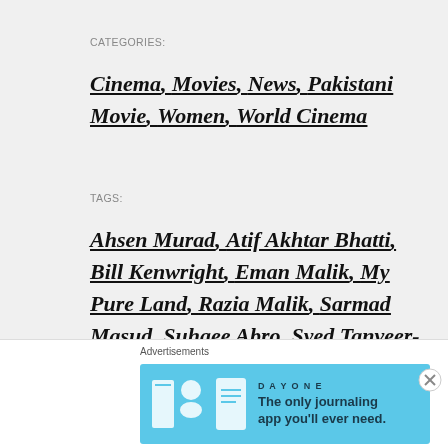CATEGORIES:
Cinema, Movies, News, Pakistani Movie, Women, World Cinema
TAGS:
Ahsen Murad, Atif Akhtar Bhatti, Bill Kenwright, Eman Malik, My Pure Land, Razia Malik, Sarmad Masud, Suhaee Abro, Syed Tanveer-Hussain, Tayyab Azfal
[Figure (photo): Advertisement banner for Day One journaling app, light blue background with icons and text 'The only journaling app you'll ever need.']